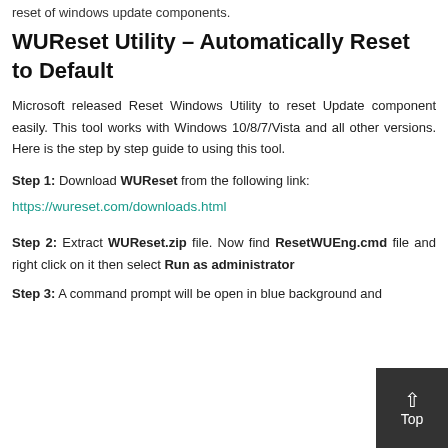reset of windows update components.
WUReset Utility – Automatically Reset to Default
Microsoft released Reset Windows Utility to reset Update component easily. This tool works with Windows 10/8/7/Vista and all other versions. Here is the step by step guide to using this tool.
Step 1: Download WUReset from the following link:
https://wureset.com/downloads.html
Step 2: Extract WUReset.zip file. Now find ResetWUEng.cmd file and right click on it then select Run as administrator
Step 3: A command prompt will be open in blue background and